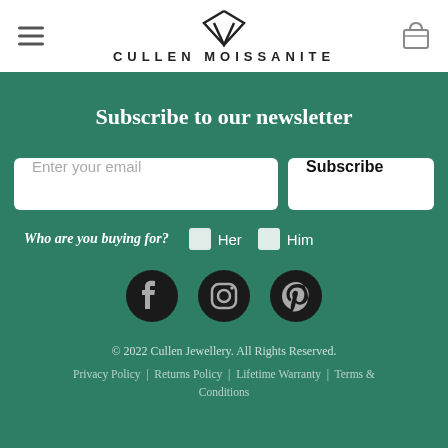[Figure (logo): Cullen Moissanite logo with diamond icon and brand name in spaced capitals]
Subscribe to our newsletter
Enter your email [input field] Subscribe [button]
Who are you buying for? Her  Him
[Figure (infographic): Facebook, Instagram, and Pinterest social media icons in dark circles]
© 2022 Cullen Jewellery. All Rights Reserved. Privacy Policy | Returns Policy | Lifetime Warranty | Terms & Conditions